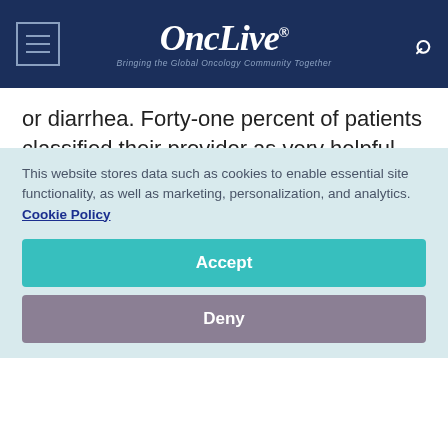OncLive® — Bringing the Global Oncology Community Together
or diarrhea. Forty-one percent of patients classified their provider as very helpful with dermatologic problems.² Notably, 61% of patients receiving immunotherapy (n = 262) said providers were very helpful in addressing dermatologic problems. The top 3 physical AEs to affect patients during/after therapy in the 2018-2019 survey were nausea/vomiting or
This website stores data such as cookies to enable essential site functionality, as well as marketing, personalization, and analytics. Cookie Policy
Accept
Deny